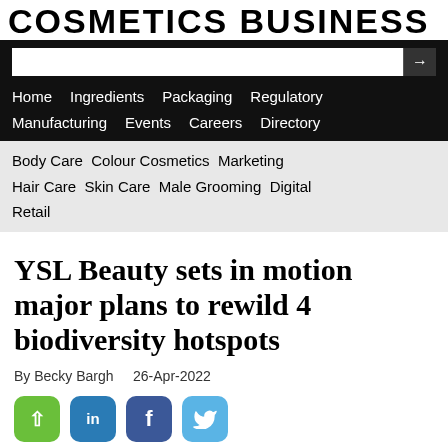COSMETICS BUSINESS
Home  Ingredients  Packaging  Regulatory  Manufacturing  Events  Careers  Directory
Body Care  Colour Cosmetics  Marketing  Hair Care  Skin Care  Male Grooming  Digital  Retail
YSL Beauty sets in motion major plans to rewild 4 biodiversity hotspots
By Becky Bargh   26-Apr-2022
[Figure (infographic): Social share buttons: share (green), LinkedIn (blue), Facebook (dark blue), Twitter (light blue)]